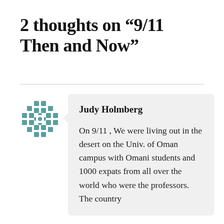2 thoughts on “9/11 Then and Now”
Judy Holmberg
On 9/11 , We were living out in the desert on the Univ. of Oman campus with Omani students and 1000 expats from all over the world who were the professors. The country